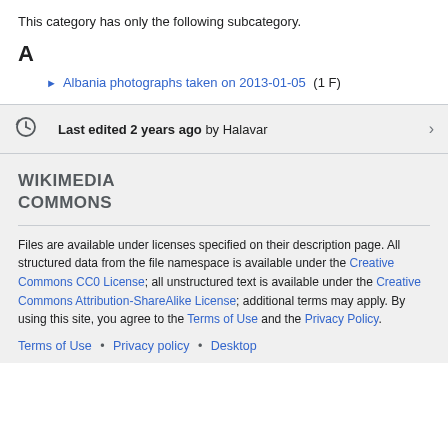This category has only the following subcategory.
A
Albania photographs taken on 2013-01-05 (1 F)
Last edited 2 years ago by Halavar
[Figure (logo): Wikimedia Commons logo text]
Files are available under licenses specified on their description page. All structured data from the file namespace is available under the Creative Commons CC0 License; all unstructured text is available under the Creative Commons Attribution-ShareAlike License; additional terms may apply. By using this site, you agree to the Terms of Use and the Privacy Policy.
Terms of Use • Privacy policy • Desktop